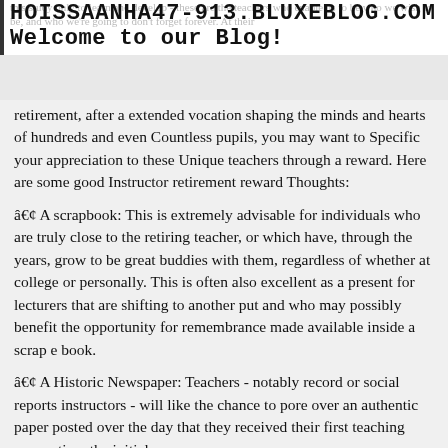HOISSAANHA47-913.BLUXEBLOG.COM
Welcome to our Blog!
retirement, after a extended vocation shaping the minds and hearts of hundreds and even Countless pupils, you may want to Specific your appreciation to these Unique teachers through a reward. Here are some good Instructor retirement reward Thoughts:
• A scrapbook: This is extremely advisable for individuals who are truly close to the retiring teacher, or which have, through the years, grow to be great buddies with them, regardless of whether at college or personally. This is often also excellent as a present for lecturers that are shifting to another put and who may possibly benefit the opportunity for remembrance made available inside a scrap e book.
• A Historic Newspaper: Teachers - notably record or social reports instructors - will like the chance to pore over an authentic paper posted over the day that they received their first teaching occupation, the initial